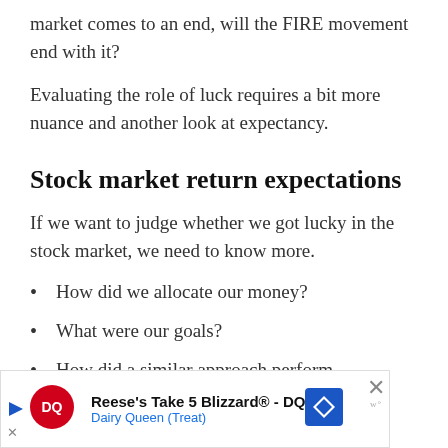market comes to an end, will the FIRE movement end with it?
Evaluating the role of luck requires a bit more nuance and another look at expectancy.
Stock market return expectations
If we want to judge whether we got lucky in the stock market, we need to know more.
How did we allocate our money?
What were our goals?
How did a similar approach perform historically?
[Figure (other): Dairy Queen advertisement banner: Reese's Take 5 Blizzard® - DQ, Dairy Queen (Treat), with DQ logo, navigation arrow icon, and close button]